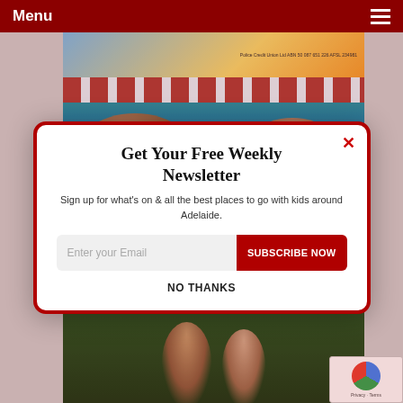Menu
[Figure (screenshot): Website screenshot showing a red navigation bar with 'Menu' text and hamburger icon, behind a modal popup overlay]
Get Your Free Weekly
Newsletter
Sign up for what's on & all the best places to go with kids around Adelaide.
Enter your Email
SUBSCRIBE NOW
NO THANKS